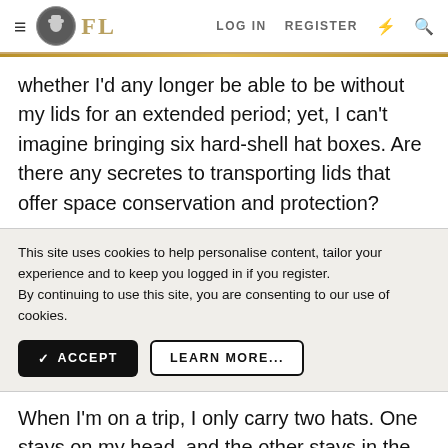FL | LOG IN REGISTER
whether I'd any longer be able to be without my lids for an extended period; yet, I can't imagine bringing six hard-shell hat boxes. Are there any secretes to transporting lids that offer space conservation and protection?
This site uses cookies to help personalise content, tailor your experience and to keep you logged in if you register. By continuing to use this site, you are consenting to our use of cookies.
When I'm on a trip, I only carry two hats. One stays on my head, and the other stays in the box. When it's time to wear one, the other swaps into the box.